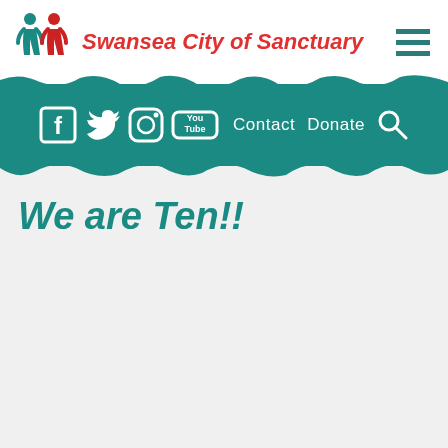Swansea City of Sanctuary
[Figure (other): Navigation banner with social media icons (Facebook, Twitter, Instagram, YouTube), Contact and Donate links, and search icon on teal background]
We are Ten!!